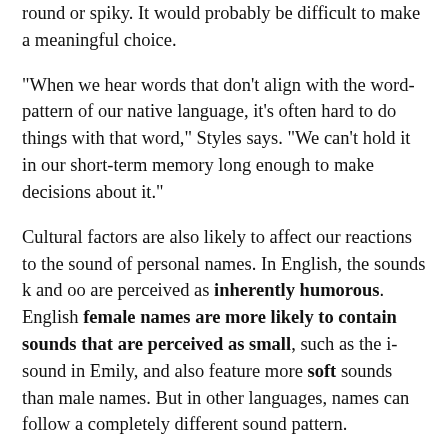round or spiky. It would probably be difficult to make a meaningful choice.
"When we hear words that don't align with the word-pattern of our native language, it's often hard to do things with that word," Styles says. "We can't hold it in our short-term memory long enough to make decisions about it."
Cultural factors are also likely to affect our reactions to the sound of personal names. In English, the sounds k and oo are perceived as inherently humorous. English female names are more likely to contain sounds that are perceived as small, such as the i-sound in Emily, and also feature more soft sounds than male names. But in other languages, names can follow a completely different sound pattern.
Sidhu hasn't yet tested the name-personality association across different languages, but expects that it would vary. "Your sounds in the language you speak might affect it;